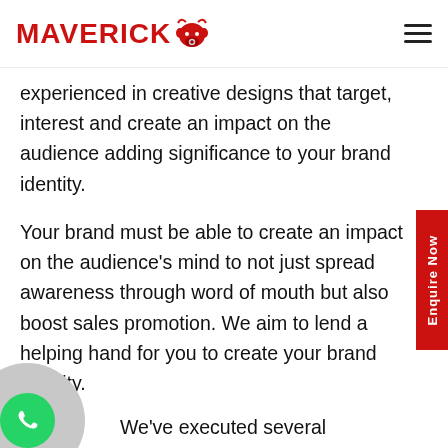MAVERICK [bull logo] [hamburger menu]
experienced in creative designs that target, interest and create an impact on the audience adding significance to your brand identity.
Your brand must be able to create an impact on the audience's mind to not just spread awareness through word of mouth but also boost sales promotion. We aim to lend a helping hand for you to create your brand identity.
We've executed several successful exhibition